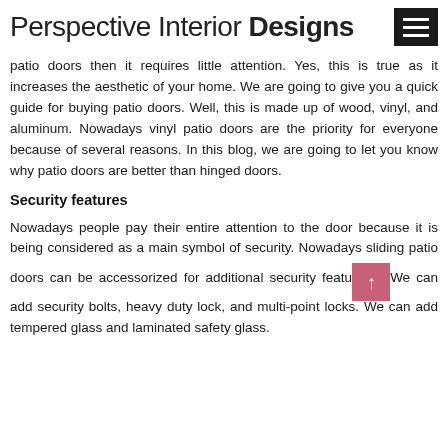Perspective Interior Designs
patio doors then it requires little attention. Yes, this is true as it increases the aesthetic of your home. We are going to give you a quick guide for buying patio doors. Well, this is made up of wood, vinyl, and aluminum. Nowadays vinyl patio doors are the priority for everyone because of several reasons. In this blog, we are going to let you know why patio doors are better than hinged doors.
Security features
Nowadays people pay their entire attention to the door because it is being considered as a main symbol of security. Nowadays sliding patio doors can be accessorized for additional security features. We can add security bolts, heavy duty lock, and multi-point locks. We can add tempered glass and laminated safety glass.